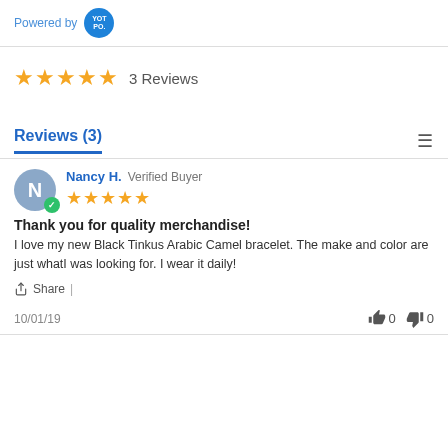Powered by YOTPO
★★★★★  3 Reviews
Reviews (3)
Nancy H.  Verified Buyer
★★★★★
Thank you for quality merchandise!
I love my new Black Tinkus Arabic Camel bracelet. The make and color are just whatI was looking for. I wear it daily!
Share  |
10/01/19    👍 0  👎 0